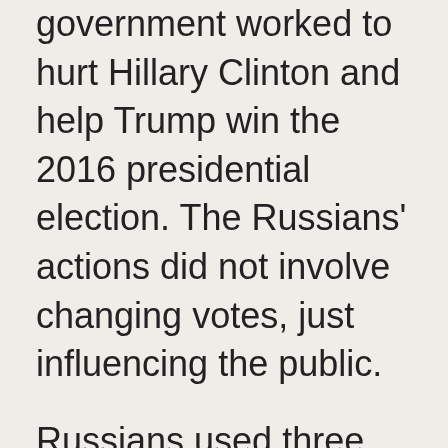government worked to hurt Hillary Clinton and help Trump win the 2016 presidential election. The Russians' actions did not involve changing votes, just influencing the public.
Russians used three means to influence the American electorate:
1) HACKING: Russians hacked into the Democratic Party's computers, stole approximately 50,000 emails and then made the emails public